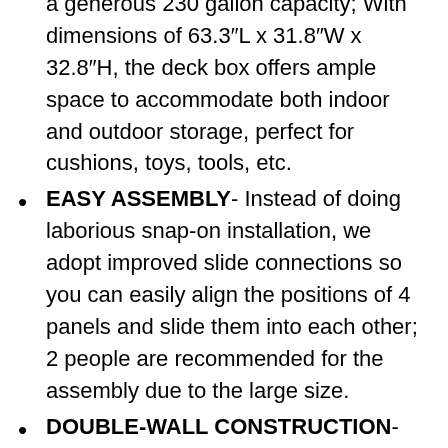a generous 230 gallon capacity; With dimensions of 63.3″L x 31.8″W x 32.8″H, the deck box offers ample space to accommodate both indoor and outdoor storage, perfect for cushions, toys, tools, etc.
EASY ASSEMBLY- Instead of doing laborious snap-on installation, we adopt improved slide connections so you can easily align the positions of 4 panels and slide them into each other; 2 people are recommended for the assembly due to the large size.
DOUBLE-WALL CONSTRUCTION- Made from all-weather guard resin that's rustproof, corrosion-resistant, and maintenance-free; Features double-wall construction for enhanced durability